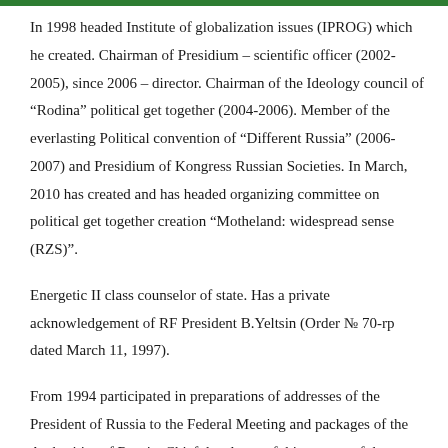In 1998 headed Institute of globalization issues (IPROG) which he created. Chairman of Presidium – scientific officer (2002-2005), since 2006 – director. Chairman of the Ideology council of “Rodina” political get together (2004-2006). Member of the everlasting Political convention of “Different Russia” (2006-2007) and Presidium of Kongress Russian Societies. In March, 2010 has created and has headed organizing committee on political get together creation “Motheland: widespread sense (RZS)”.
Energetic II class counselor of state. Has a private acknowledgement of RF President B.Yeltsin (Order № 70-rp dated March 11, 1997).
From 1994 participated in preparations of addresses of the President of Russia to the Federal Meeting and packages of the Authorities of Russia. Chief developer of this system of the Authorities of Russia, On measures for stabilizing social and financial scenario within the nation (autumn 1998), participant in negotiations with IMF and World Financial institution in January-April 1999.
One of many well-known Russian economists. For an extended time period was the